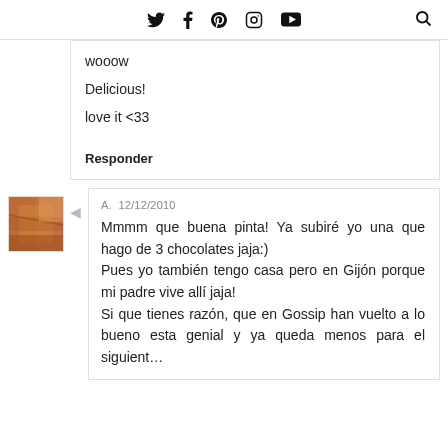Twitter Facebook Pinterest Instagram YouTube [search]
wooow

Delicious!

love it <33
Responder
A.  12/12/2010
Mmmm que buena pinta! Ya subiré yo una que hago de 3 chocolates jaja:)
Pues yo también tengo casa pero en Gijón porque mi padre vive allí jaja!
Si que tienes razón, que en Gossip han vuelto a lo bueno esta genial y ya queda menos para el siguient…